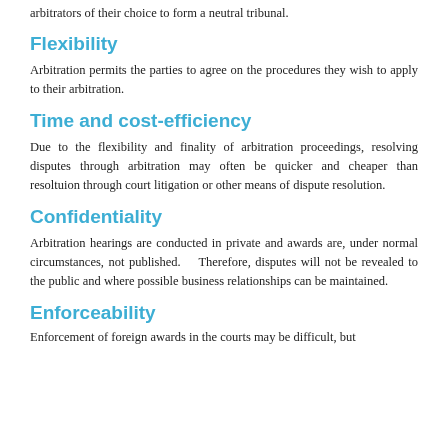arbitrators of their choice to form a neutral tribunal.
Flexibility
Arbitration permits the parties to agree on the procedures they wish to apply to their arbitration.
Time and cost-efficiency
Due to the flexibility and finality of arbitration proceedings, resolving disputes through arbitration may often be quicker and cheaper than resoltuion through court litigation or other means of dispute resolution.
Confidentiality
Arbitration hearings are conducted in private and awards are, under normal circumstances, not published. Therefore, disputes will not be revealed to the public and where possible business relationships can be maintained.
Enforceability
Enforcement of foreign awards in the courts may be difficult, but